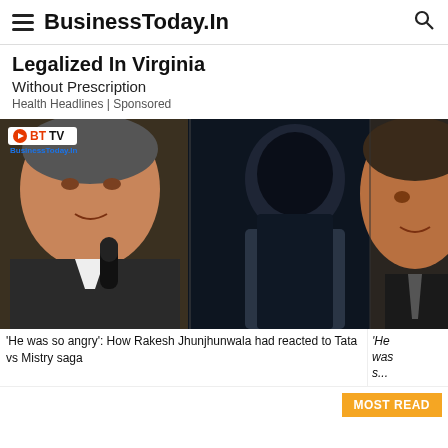BusinessToday.In
Legalized In Virginia
Without Prescription
Health Headlines | Sponsored
[Figure (photo): Composite image of three people: an elderly man speaking into a microphone (Ratan Tata), a silhouetted figure in the center, and a man in a suit on the right (Cyrus Mistry). BT TV logo overlay in top-left corner.]
'He was so angry': How Rakesh Jhunjhunwala had reacted to Tata vs Mistry saga
'He was s...
MOST READ